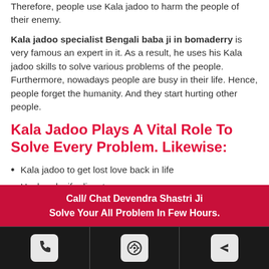Therefore, people use Kala jadoo to harm the people of their enemy.
Kala jadoo specialist Bengali baba ji in bomaderry is very famous an expert in it. As a result, he uses his Kala jadoo skills to solve various problems of the people. Furthermore, nowadays people are busy in their life. Hence, people forget the humanity. And they start hurting other people.
Kala Jadoo Plays A Vital Role To Solve Every Problem. Likewise:
Kala jadoo to get lost love back in life
Husband-wife dispute
For the purpose of revenge
Help to recover from the long-term disease
Call/ Chat Devendra Shastri Ji
Solve Your All Problem In Few Hours.